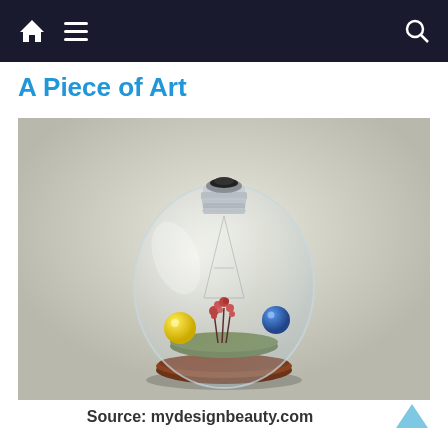Navigation bar with home, menu, and search icons
A Piece of Art
[Figure (photo): A glass light bulb terrarium containing a miniature landscape with small red plants, yellow and blue spheres, and a circular wooden base, set against a neutral grey background.]
Source: mydesignbeauty.com